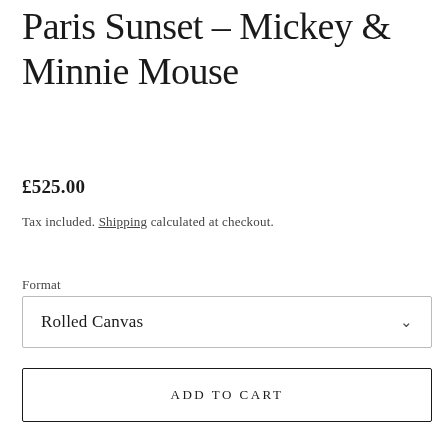Paris Sunset – Mickey & Minnie Mouse
£525.00
Tax included. Shipping calculated at checkout.
Format
Rolled Canvas
ADD TO CART